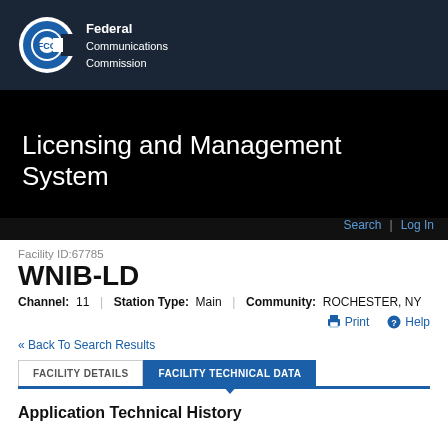[Figure (logo): FCC logo with text: Federal Communications Commission]
Licensing and Management System
Search | Log In
Facility ID:67785
WNIB-LD
Channel: 11 | Station Type: Main | Community: ROCHESTER, NY
Print   Help
« Back To Search Results
FACILITY DETAILS   FACILITY TECHNICAL DATA
Application Technical History